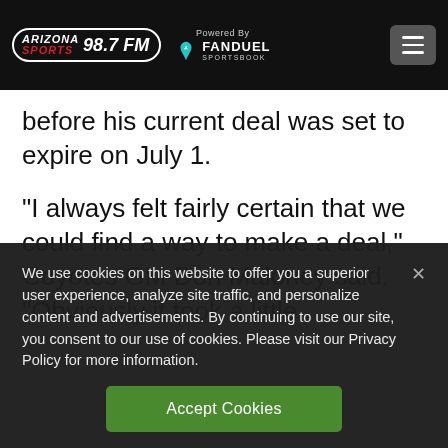Arizona Sports 98.7 FM — Powered By FanDuel Sportsbook
before his current deal was set to expire on July 1.
“I always felt fairly certain that we could find a way to make a deal,” Coyotes GM Don Maloney said. “Obviously it took a little
We use cookies on this website to offer you a superior user experience, analyze site traffic, and personalize content and advertisements. By continuing to use our site, you consent to our use of cookies. Please visit our Privacy Policy for more information.
Accept Cookies